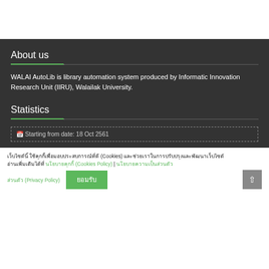About us
WALAI AutoLib is library automation system produced by Informatic Innovation Research Unit (IIRU), Walailak University.
Statistics
Starting from date: 18 Oct 2561
เว็บไซต์นี้ ใช้คุกกี้เพื่อมอบประสบการณ์ที่ดี (Cookies) และช่วยเราในการปรับปรุงและพัฒนาเว็บไซต์ อ่านเพิ่มเติมได้ที่ นโยบายคุกกี้ (Cookies Policy) | นโยบายความเป็นส่วนตัว (Privacy Policy)
ยอมรับ